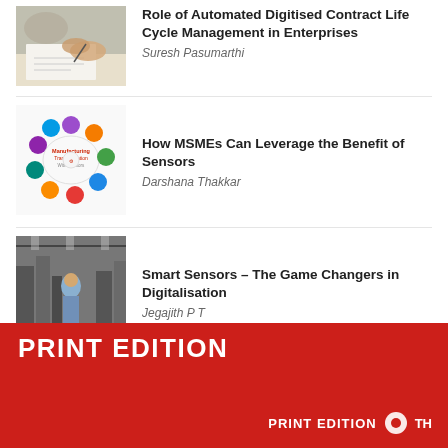[Figure (photo): Person signing or reviewing documents on a table]
Role of Automated Digitised Contract Life Cycle Management in Enterprises
Suresh Pasumarthi
[Figure (illustration): Circular infographic showing Manufacturing Transformation With Sensors with colorful circles]
How MSMEs Can Leverage the Benefit of Sensors
Darshana Thakkar
[Figure (photo): Industrial factory floor with machinery and worker]
Smart Sensors – The Game Changers in Digitalisation
Jegajith P T
[Figure (photo): Dark image, partially visible, related to data centres]
How Protecting Data Centres
PRINT EDITION
PRINT EDITION